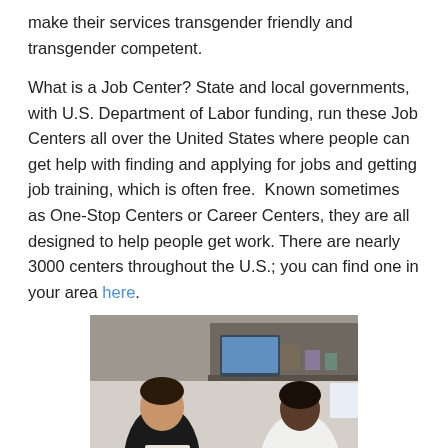make their services transgender friendly and transgender competent.
What is a Job Center? State and local governments, with U.S. Department of Labor funding, run these Job Centers all over the United States where people can get help with finding and applying for jobs and getting job training, which is often free.  Known sometimes as One-Stop Centers or Career Centers, they are all designed to help people get work. There are nearly 3000 centers throughout the U.S.; you can find one in your area here.
[Figure (photo): Two women in an office cubicle setting. One woman in a black top is holding papers, facing another woman in a white long-sleeve top who appears to be a job counselor. A computer monitor and office shelves are visible in the background.]